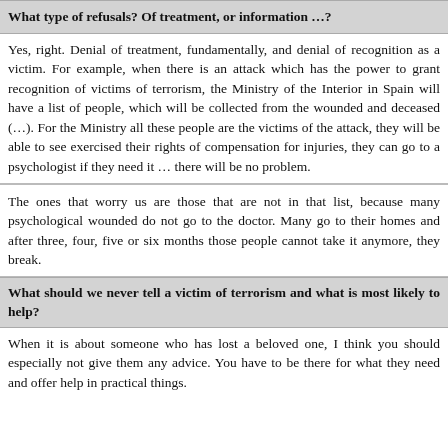What type of refusals? Of treatment, or information …?
Yes, right. Denial of treatment, fundamentally, and denial of recognition as a victim. For example, when there is an attack which has the power to grant recognition of victims of terrorism, the Ministry of the Interior in Spain will have a list of people, which will be collected from the wounded and deceased (…). For the Ministry all these people are the victims of the attack, they will be able to see exercised their rights of compensation for injuries, they can go to a psychologist if they need it … there will be no problem.
The ones that worry us are those that are not in that list, because many psychological wounded do not go to the doctor. Many go to their homes and after three, four, five or six months those people cannot take it anymore, they break.
What should we never tell a victim of terrorism and what is most likely to help?
When it is about someone who has lost a beloved one, I think you should especially not give them any advice. You have to be there for what they need and offer help in practical things.